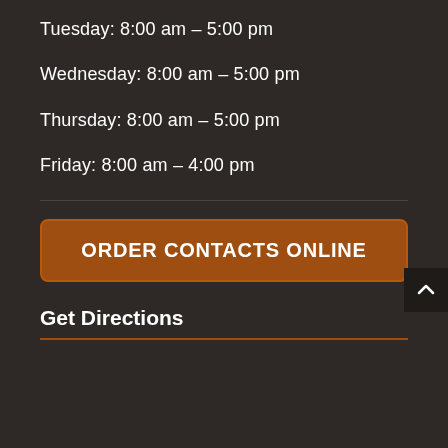Tuesday: 8:00 am – 5:00 pm
Wednesday: 8:00 am – 5:00 pm
Thursday: 8:00 am – 5:00 pm
Friday: 8:00 am – 4:00 pm
ORDER CONTACTS ONLINE
Get Directions